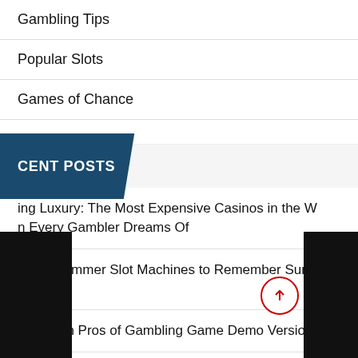Gambling Tips
Popular Slots
Games of Chance
RECENT POSTS
ing Luxury: The Most Expensive Casinos in the W n Every Gambler Dreams Of
Top 5 Summer Slot Machines to Remember Summer Vibe
The Main Pros of Gambling Game Demo Versions
Fire in the Hole xBomb Slot Machine – Tips to play